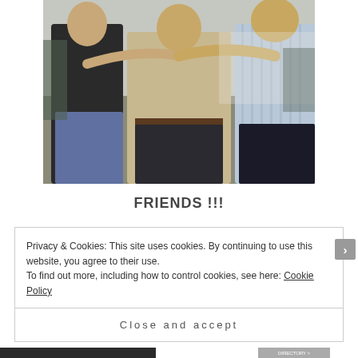[Figure (photo): Three men posing together with arms around each other, smiling. Left man wears dark top and jeans, center man wears beige/khaki shirt, right man wears light striped shirt and dark jeans. Background appears to be outdoors.]
FRIENDS !!!
Privacy & Cookies: This site uses cookies. By continuing to use this website, you agree to their use.
To find out more, including how to control cookies, see here: Cookie Policy
Close and accept